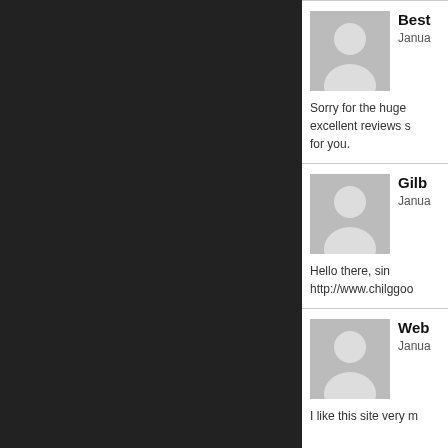[Figure (illustration): Dark/black left panel background]
Best
Janua
Sorry for the huge excellent reviews s for you.
Gilb
Janua
Hello there, sin http://www.chilggoo
Web
Janua
I like this site very m